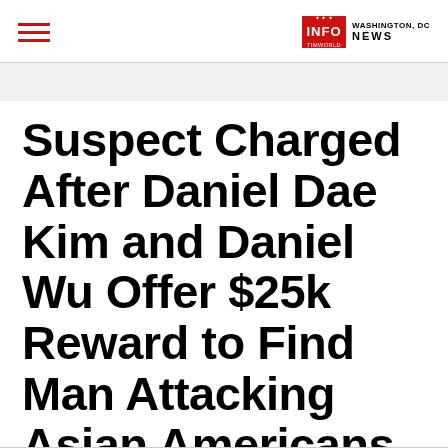INFO TIMWORLD WASHINGTON, DC NEWS
Suspect Charged After Daniel Dae Kim and Daniel Wu Offer $25k Reward to Find Man Attacking Asian Americans